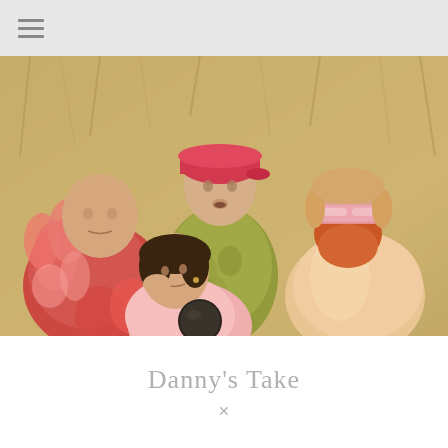☰ (hamburger menu icon)
[Figure (photo): Four people posing together outdoors in a field of dry grass. Left: bald man wearing a colorful feather/leaf coat in reds and pinks. Center-left: woman with hand on cheek looking upward, wearing pink. Center-top: tall man in green textured sweater and red cap. Right: man with red beard and rosy cheeks wearing peach/gold satin cape and mirrored pink visor sunglasses. A dark circular microphone or orb is partially visible at center-bottom.]
Danny's Take